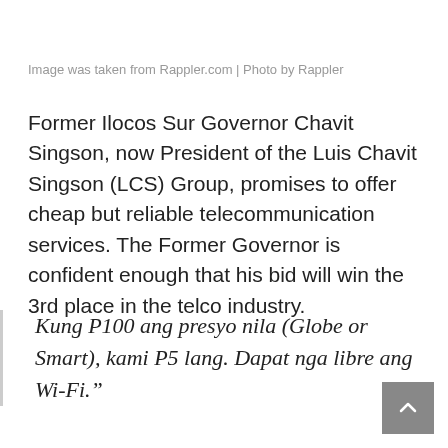Image was taken from Rappler.com | Photo by Rappler
Former Ilocos Sur Governor Chavit Singson, now President of the Luis Chavit Singson (LCS) Group, promises to offer cheap but reliable telecommunication services. The Former Governor is confident enough that his bid will win the 3rd place in the telco industry.
Kung P100 ang presyo nila (Globe or Smart), kami P5 lang. Dapat nga libre ang Wi-Fi.”